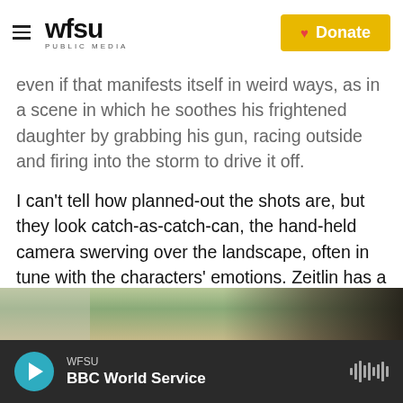WFSU PUBLIC MEDIA | Donate
even if that manifests itself in weird ways, as in a scene in which he soothes his frightened daughter by grabbing his gun, racing outside and firing into the storm to drive it off.
I can't tell how planned-out the shots are, but they look catch-as-catch-can, the hand-held camera swerving over the landscape, often in tune with the characters' emotions. Zeitlin has a heartwarming camera subject in Quvenzhane Wallis, who was 5 when she was picked from a reported 4,000 candidates to play Hushpuppy.
[Figure (photo): Partial photo strip showing outdoor scene with greenery and a dark-toned right side]
WFSU | BBC World Service (audio player bar)